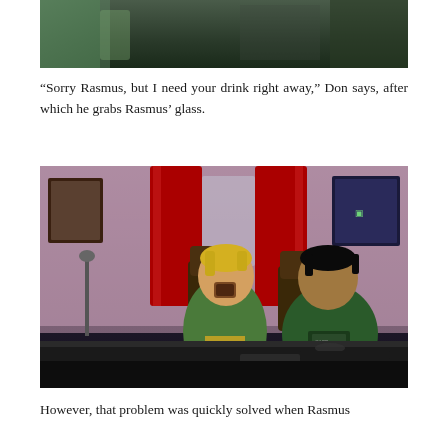[Figure (screenshot): Top portion of a video game screenshot (The Sims 4) showing a dark interior scene, partially cropped at the top of the page.]
“Sorry Rasmus, but I need your drink right away,” Don says, after which he grabs Rasmus’ glass.
[Figure (screenshot): The Sims 4 screenshot showing two characters sitting at a bar counter. The character on the left (blonde, green jacket) is drinking from a glass. The character on the right (dark hair, green t-shirt) watches. The bar has red curtains and a pink/purple brick wall in the background.]
However, that problem was quickly solved when Rasmus